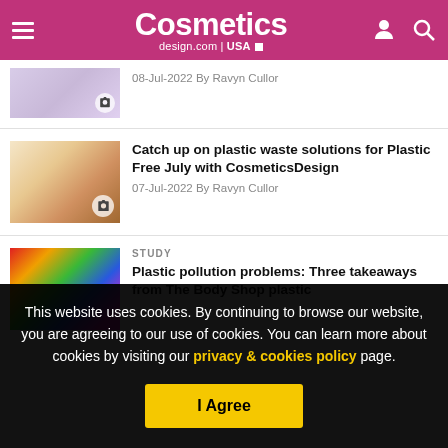Cosmetics design.com | USA
08-Jul-2022 By Ravyn Cullor
Catch up on plastic waste solutions for Plastic Free July with CosmeticsDesign
07-Jul-2022 By Ravyn Cullor
STUDY
Plastic pollution problems: Three takeaways from The Body Shop plastic
This website uses cookies. By continuing to browse our website, you are agreeing to our use of cookies. You can learn more about cookies by visiting our privacy & cookies policy page.
I Agree